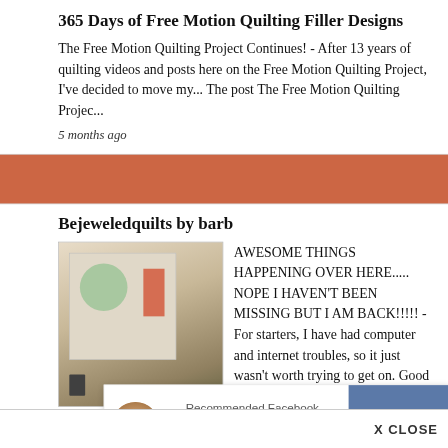365 Days of Free Motion Quilting Filler Designs
The Free Motion Quilting Project Continues! - After 13 years of quilting videos and posts here on the Free Motion Quilting Project, I've decided to move my... The post The Free Motion Quilting Projec...
5 months ago
Bejeweledquilts by barb
[Figure (photo): Small thumbnail photo showing an art print or painting on a wall with a vase and decorative items]
AWESOME THINGS HAPPENING OVER HERE..... NOPE I HAVEN'T BEEN MISSING BUT I AM BACK!!!!! - For starters, I have had computer and internet troubles, so it just wasn't worth trying to get on. Good things are happening though.....just take a look!...
5 months ago
Recommended Facebook Account
Esther's Quilt Blog
Like
AN
X CLOSE